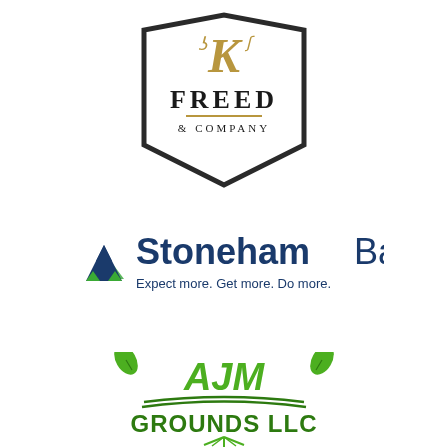[Figure (logo): Freed & Company logo — a dark hexagonal/shield badge outline with a decorative golden 'K' monogram at top, bold text 'FREED' in the center, a gold horizontal rule, and '& COMPANY' in spaced serif capitals below.]
[Figure (logo): Stoneham Bank logo — a triangular mountain icon in blue and green on the left, followed by 'Stoneham' in bold dark blue sans-serif and 'Bank' in lighter weight, with tagline 'Expect more. Get more. Do more.' in dark blue below.]
[Figure (logo): AJM Grounds LLC logo — bright green leaf icons flanking 'AJM' in bold green script with decorative curved lines, and 'GROUNDS LLC' in bold green below, with a sun/rays graphic beneath.]